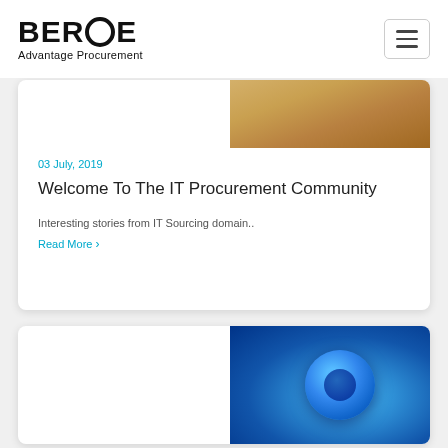[Figure (logo): BEROE logo with stylized O as circle, subtitle Advantage Procurement]
[Figure (other): Hamburger menu icon button in top right corner]
03 July, 2019
Welcome To The IT Procurement Community
Interesting stories from IT Sourcing domain..
Read More ›
[Figure (photo): Partial photo of a laptop on a wooden surface (warm tones), top portion visible]
[Figure (photo): Blue glowing donut/torus shaped object on dark blue background]